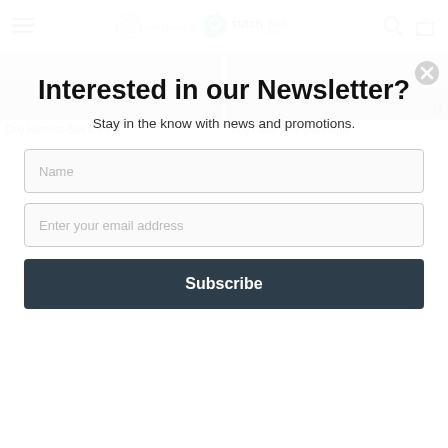stitchpaint.com | stitchpet.com
[Figure (screenshot): Product thumbnails partially visible: Dog Harness-Swirls Ice (left) and Dog Collar Orange&Purple (right), both partially obscured by modal overlay]
Dog Harness-Swirls Ice
Dog Collar Orange&Purple
Interested in our Newsletter?
Stay in the know with news and promotions.
Name
Enter your email address
Subscribe